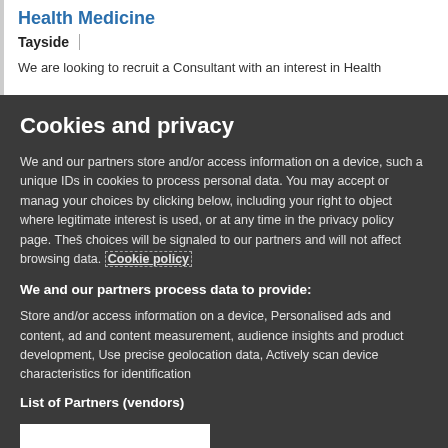Health Medicine
Tayside
We are looking to recruit a Consultant with an interest in Health
Cookies and privacy
We and our partners store and/or access information on a device, such a unique IDs in cookies to process personal data. You may accept or manage your choices by clicking below, including your right to object where legitimate interest is used, or at any time in the privacy policy page. These choices will be signaled to our partners and will not affect browsing data. Cookie policy
We and our partners process data to provide:
Store and/or access information on a device, Personalised ads and content, ad and content measurement, audience insights and product development, Use precise geolocation data, Actively scan device characteristics for identification
List of Partners (vendors)
I Accept